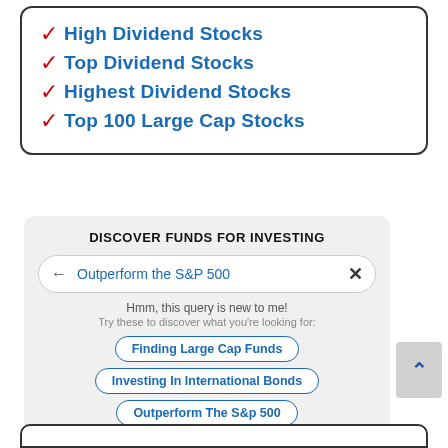✓ High Dividend Stocks
✓ Top Dividend Stocks
✓ Highest Dividend Stocks
✓ Top 100 Large Cap Stocks
DISCOVER FUNDS FOR INVESTING
← Outperform the S&P 500   ✕
Hmm, this query is new to me!
Try these to discover what you're looking for:
Finding Large Cap Funds
Investing In International Bonds
Outperform The S&p 500
High Growth Funds With High Returns
"The Google for Investing" as mentioned by CNBC
powered by magnifi